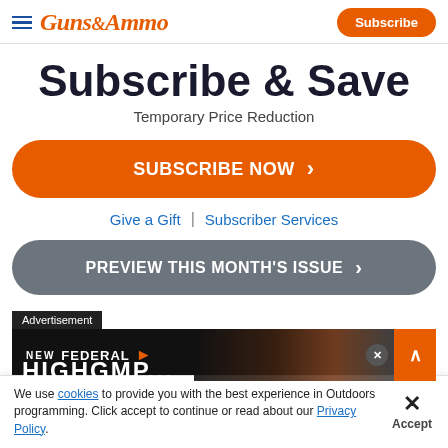GUNS&AMMO — Subscribe
Subscribe & Save
Temporary Price Reduction
SUBSCRIBE NOW
Give a Gift  |  Subscriber Services
PREVIEW THIS MONTH'S ISSUE
[Figure (screenshot): Advertisement banner showing NEW FEDERAL branding with dark background and orange accent square]
We use cookies to provide you with the best experience in Outdoors programming. Click accept to continue or read about our Privacy Policy.